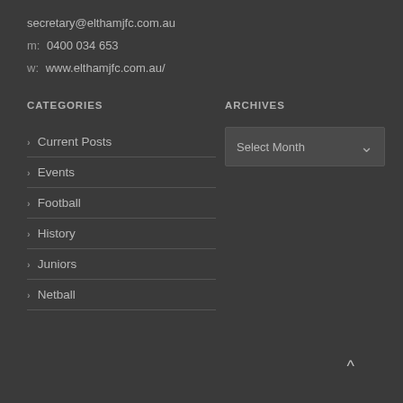secretary@elthamjfc.com.au
m:  0400 034 653
w:   www.elthamjfc.com.au/
CATEGORIES
ARCHIVES
> Current Posts
> Events
> Football
> History
> Juniors
> Netball